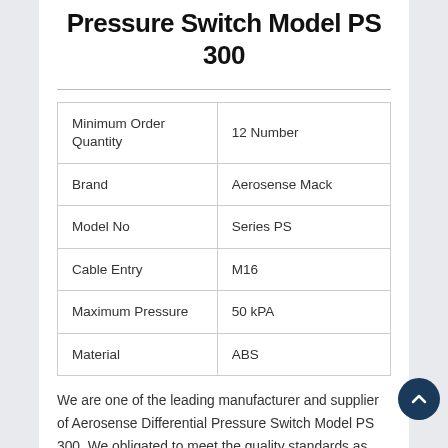Pressure Switch Model PS 300
| Minimum Order Quantity | 12 Number |
| Brand | Aerosense Mack |
| Model No | Series PS |
| Cable Entry | M16 |
| Maximum Pressure | 50 kPA |
| Material | ABS |
We are one of the leading manufacturer and supplier of Aerosense Differential Pressure Switch Model PS 300. We obligated to meet the quality standards as per the customer demand.